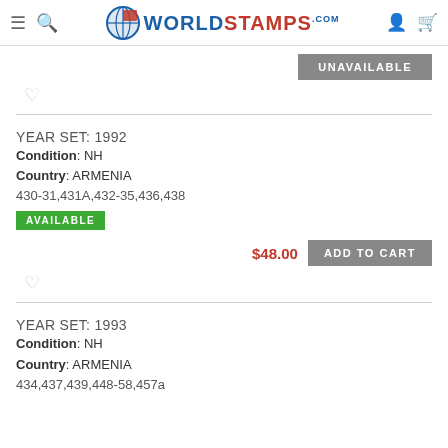WorldStamps.com
UNAVAILABLE
♡
YEAR SET: 1992
Condition: NH
Country: ARMENIA
430-31,431A,432-35,436,438
AVAILABLE
$48.00
ADD TO CART
♡
YEAR SET: 1993
Condition: NH
Country: ARMENIA
434,437,439,448-58,457a